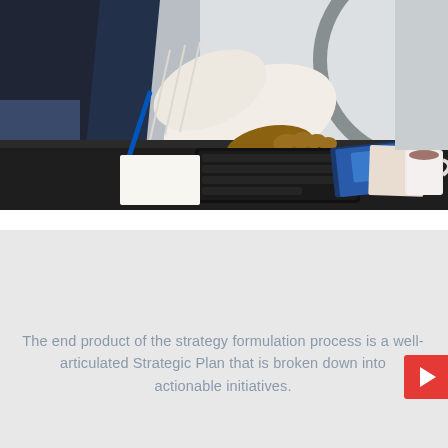[Figure (photo): Photo of two people at a dark desk/table, one wearing a white ribbed sweater leaning over a keyboard, another in dark clothing to the left. A bicycle wheel is visible on the left and right side. On the table there is also a keyboard, a blue pen, some magazines or books, and a coffee cup on the right. Background is light gray/white.]
The end product of the strategy formulation process is a well-articulated Strategic Plan that is broken down into actionable initiatives.